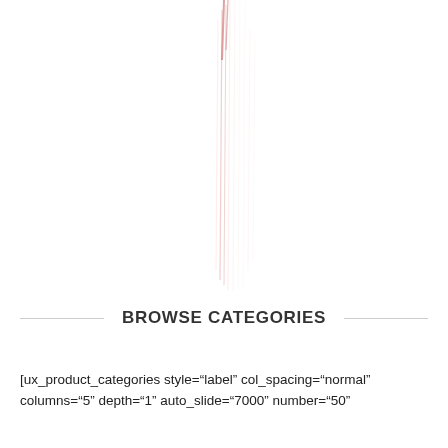[Figure (illustration): Faint decorative vertical lines/streaks in a light pink/red color on white background, occupying the upper portion of the page]
BROWSE CATEGORIES
[ux_product_categories style="label" col_spacing="normal" columns="5" depth="1" auto_slide="7000" number="50"